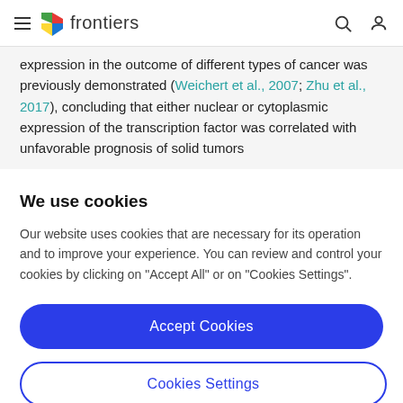frontiers
expression in the outcome of different types of cancer was previously demonstrated (Weichert et al., 2007; Zhu et al., 2017), concluding that either nuclear or cytoplasmic expression of the transcription factor was correlated with unfavorable prognosis of solid tumors
We use cookies
Our website uses cookies that are necessary for its operation and to improve your experience. You can review and control your cookies by clicking on "Accept All" or on "Cookies Settings".
Accept Cookies
Cookies Settings